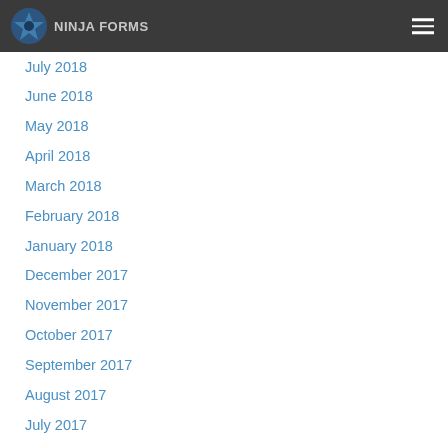Site logo and navigation header
July 2018
June 2018
May 2018
April 2018
March 2018
February 2018
January 2018
December 2017
November 2017
October 2017
September 2017
August 2017
July 2017
June 2017
May 2017
April 2017
March 2017